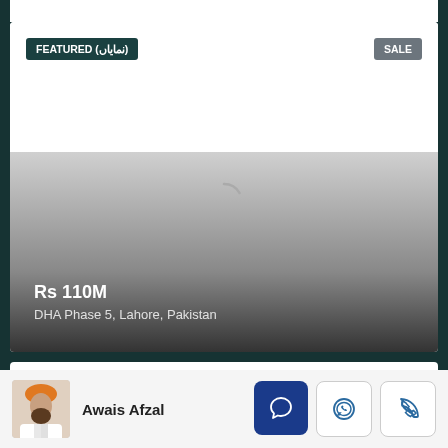[Figure (screenshot): Mobile real estate listing app screenshot showing a property card with FEATURED (نمایاں) badge, SALE badge, loading spinner, price Rs 110M, and location DHA Phase 5, Lahore, Pakistan with gradient overlay]
FEATURED (نمایاں)
SALE
Rs 110M
DHA Phase 5, Lahore, Pakistan
FEATURED (نمایاں)
SALE
Awais Afzal